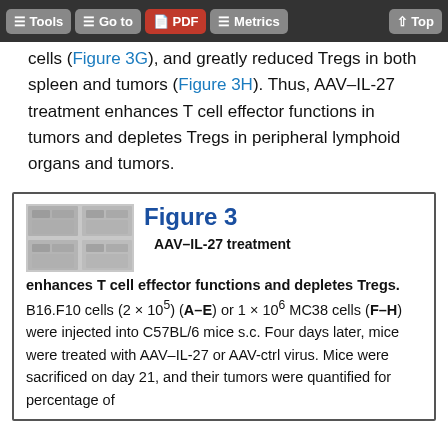Tools | Go to | PDF | Metrics | Top
cells (Figure 3G), and greatly reduced Tregs in both spleen and tumors (Figure 3H). Thus, AAV–IL-27 treatment enhances T cell effector functions in tumors and depletes Tregs in peripheral lymphoid organs and tumors.
Figure 3
AAV–IL-27 treatment enhances T cell effector functions and depletes Tregs. B16.F10 cells (2 × 10⁵) (A–E) or 1 × 10⁶ MC38 cells (F–H) were injected into C57BL/6 mice s.c. Four days later, mice were treated with AAV–IL-27 or AAV-ctrl virus. Mice were sacrificed on day 21, and their tumors were quantified for percentage of